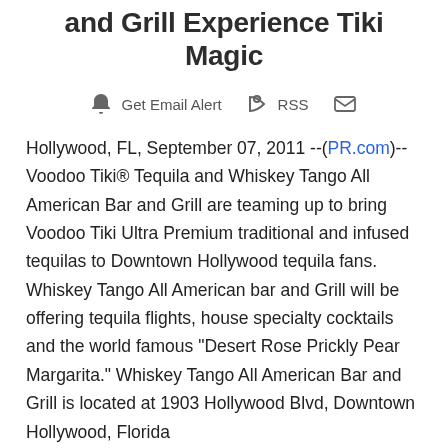and Grill Experience Tiki Magic
Get Email Alert   RSS   (mail icon)
Hollywood, FL, September 07, 2011 --(PR.com)-- Voodoo Tiki® Tequila and Whiskey Tango All American Bar and Grill are teaming up to bring Voodoo Tiki Ultra Premium traditional and infused tequilas to Downtown Hollywood tequila fans. Whiskey Tango All American bar and Grill will be offering tequila flights, house specialty cocktails and the world famous "Desert Rose Prickly Pear Margarita." Whiskey Tango All American Bar and Grill is located at 1903 Hollywood Blvd, Downtown Hollywood, Florida